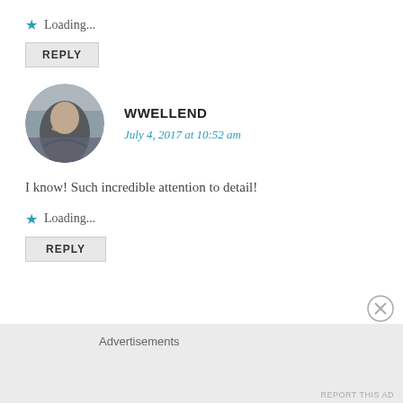★ Loading...
REPLY
[Figure (photo): Circular avatar photo of a person outdoors in muted tones]
WWELLEND
July 4, 2017 at 10:52 am
I know! Such incredible attention to detail!
★ Loading...
REPLY
Advertisements
REPORT THIS AD